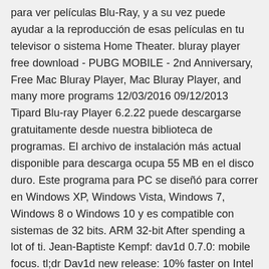para ver películas Blu-Ray, y a su vez puede ayudar a la reproducción de esas películas en tu televisor o sistema Home Theater. bluray player free download - PUBG MOBILE - 2nd Anniversary, Free Mac Bluray Player, Mac Bluray Player, and many more programs 12/03/2016 09/12/2013 Tipard Blu-ray Player 6.2.22 puede descargarse gratuitamente desde nuestra biblioteca de programas. El archivo de instalación más actual disponible para descarga ocupa 55 MB en el disco duro. Este programa para PC se diseñó para correr en Windows XP, Windows Vista, Windows 7, Windows 8 o Windows 10 y es compatible con sistemas de 32 bits. ARM 32-bit After spending a lot of ti. Jean-Baptiste Kempf: dav1d 0.7.0: mobile focus. tl;dr Dav1d new release: 10% faster on Intel CPUs with 25% less RAM, assembly finished for 8bit ARM64 assembly mostly done for 10/12bit in addition to 8bit dav1d is twice as fast as gav1 on ARM CPU and 4 times faster for 10b 1080p AV1 dec